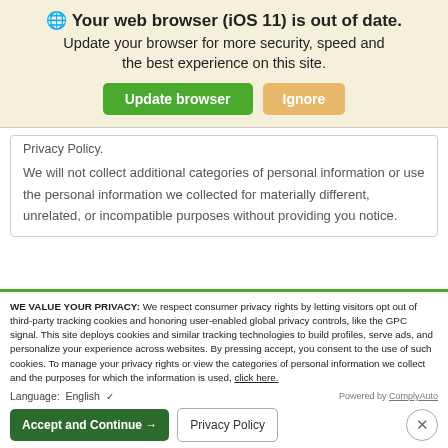🌐 Your web browser (iOS 11) is out of date. Update your browser for more security, speed and the best experience on this site.
Privacy Policy.
We will not collect additional categories of personal information or use the personal information we collected for materially different, unrelated, or incompatible purposes without providing you notice.
WE VALUE YOUR PRIVACY: We respect consumer privacy rights by letting visitors opt out of third-party tracking cookies and honoring user-enabled global privacy controls, like the GPC signal. This site deploys cookies and similar tracking technologies to build profiles, serve ads, and personalize your experience across websites. By pressing accept, you consent to the use of such cookies. To manage your privacy rights or view the categories of personal information we collect and the purposes for which the information is used, click here.
Language: English ✓ Powered by ComplyAuto